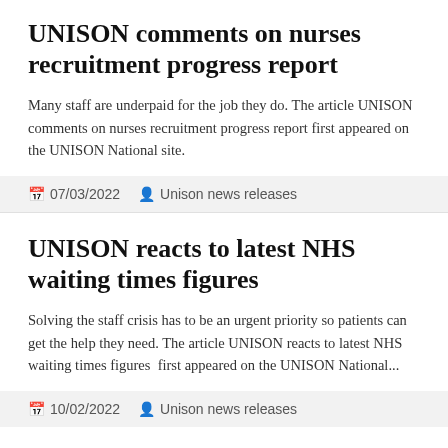UNISON comments on nurses recruitment progress report
Many staff are underpaid for the job they do. The article UNISON comments on nurses recruitment progress report first appeared on the UNISON National site.
07/03/2022   Unison news releases
UNISON reacts to latest NHS waiting times figures
Solving the staff crisis has to be an urgent priority so patients can get the help they need. The article UNISON reacts to latest NHS waiting times figures  first appeared on the UNISON National...
10/02/2022   Unison news releases